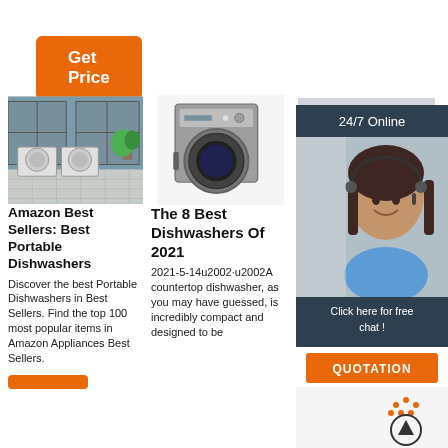Get Price
[Figure (photo): Laundry room with washing machines]
Amazon Best Sellers: Best Portable Dishwashers
Discover the best Portable Dishwashers in Best Sellers. Find the top 100 most popular items in Amazon Appliances Best Sellers.
[Figure (photo): Front-loading washing machine with open door]
The 8 Best Dishwashers Of 2021
2021-5-14u2002·u2002A countertop dishwasher, as you may have guessed, is incredibly compact and designed to be
[Figure (photo): Dishwasher faucet detail]
12 Best Dishwashers For 2021 Dishwasher Reviews
2021-12-15u2002·u2002Best High-End Dishwasher: Bosch 800 Series Dishwasher. Best Cleaning
[Figure (photo): Customer service agent with headset — 24/7 Online chat support, Click here for free chat, QUOTATION button]